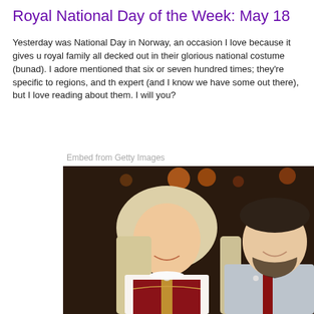Royal National Day of the Week: May 18
Yesterday was National Day in Norway, an occasion I love because it gives u royal family all decked out in their glorious national costume (bunad). I adore mentioned that six or seven hundred times; they're specific to regions, and th expert (and I know we have some out there), but I love reading about them. I will you?
Embed from Getty Images
[Figure (photo): Photo of a smiling blonde woman wearing a traditional Norwegian bunad (national costume) with white blouse and dark embroidered bodice, standing next to a smiling bearded man in a grey jacket with a red tie/ribbon. Bokeh lights visible in dark background.]